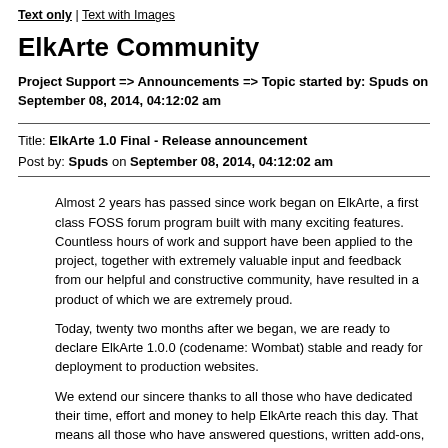Text only | Text with Images
ElkArte Community
Project Support => Announcements => Topic started by: Spuds on September 08, 2014, 04:12:02 am
Title: ElkArte 1.0 Final - Release announcement
Post by: Spuds on September 08, 2014, 04:12:02 am
Almost 2 years has passed since work began on ElkArte, a first class FOSS forum program built with many exciting features. Countless hours of work and support have been applied to the project, together with extremely valuable input and feedback from our helpful and constructive community, have resulted in a product of which we are extremely proud.
Today, twenty two months after we began, we are ready to declare ElkArte 1.0.0 (codename: Wombat) stable and ready for deployment to production websites.
We extend our sincere thanks to all those who have dedicated their time, effort and money to help ElkArte reach this day. That means all those who have answered questions, written add-ons, translated text, designed themes, modified templates, reported bugs, submitted patches or written tutorials. Thank you all.